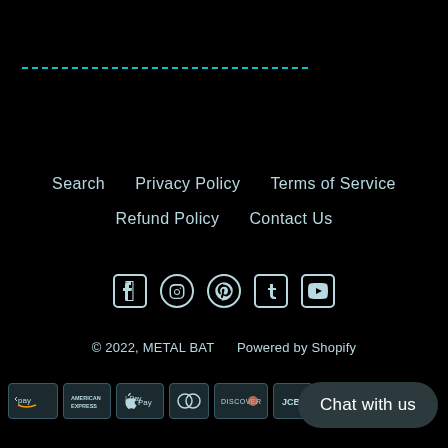[Figure (other): Teal dashed horizontal line separator]
Search
Privacy Policy
Terms of Service
Refund Policy
Contact Us
[Figure (other): Social media icons: Facebook, Pinterest, Instagram, Tumblr, YouTube]
© 2022, METAL BAT    Powered by Shopify
[Figure (other): Payment method logos: Amazon Pay, American Express, Apple Pay, Diners Club, Discover, JCB]
Chat with us